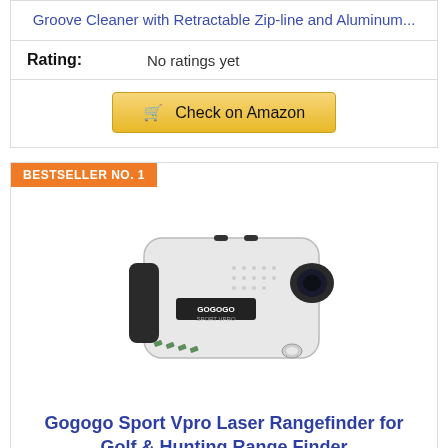Groove Cleaner with Retractable Zip-line and Aluminum...
Rating: No ratings yet
Check on Amazon
BESTSELLER NO. 1
[Figure (photo): Gogogo Sport Vpro laser rangefinder device, white with black accents, monocular style]
Gogogo Sport Vpro Laser Rangefinder for Golf & Hunting Range Finder